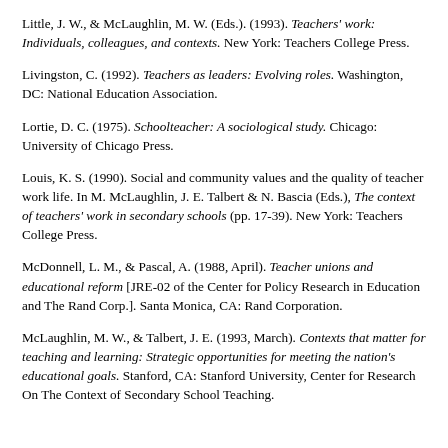Little, J. W., & McLaughlin, M. W. (Eds.). (1993). Teachers' work: Individuals, colleagues, and contexts. New York: Teachers College Press.
Livingston, C. (1992). Teachers as leaders: Evolving roles. Washington, DC: National Education Association.
Lortie, D. C. (1975). Schoolteacher: A sociological study. Chicago: University of Chicago Press.
Louis, K. S. (1990). Social and community values and the quality of teacher work life. In M. McLaughlin, J. E. Talbert & N. Bascia (Eds.), The context of teachers' work in secondary schools (pp. 17-39). New York: Teachers College Press.
McDonnell, L. M., & Pascal, A. (1988, April). Teacher unions and educational reform [JRE-02 of the Center for Policy Research in Education and The Rand Corp.]. Santa Monica, CA: Rand Corporation.
McLaughlin, M. W., & Talbert, J. E. (1993, March). Contexts that matter for teaching and learning: Strategic opportunities for meeting the nation's educational goals. Stanford, CA: Stanford University, Center for Research On The Context of Secondary School Teaching.